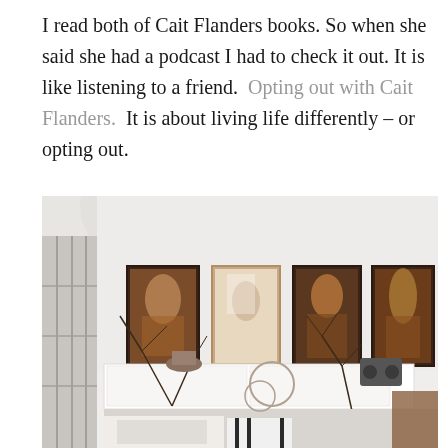I read both of Cait Flanders books. So when she said she had a podcast I had to check it out. It is like listening to a friend.  Opting out with Cait Flanders.  It is about living life differently – or opting out.
[Figure (photo): Interior room photo showing a white-walled living space with four framed artworks hung on the wall above a white console/credenza. The artworks appear to be Klimt-style prints in warm brown tones. Below are decorative branches, small objects, and furniture. A window with grid panes is visible on the left.]